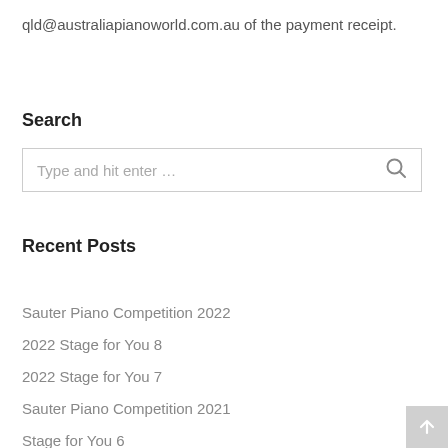qld@australiapianoworld.com.au of the payment receipt.
Search
Type and hit enter …
Recent Posts
Sauter Piano Competition 2022
2022 Stage for You 8
2022 Stage for You 7
Sauter Piano Competition 2021
Stage for You 6